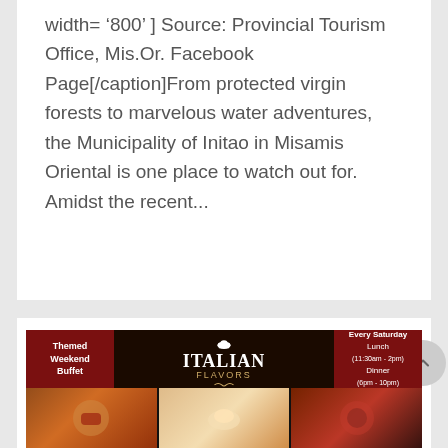width= '800' ] Source: Provincial Tourism Office, Mis.Or. Facebook Page[/caption]From protected virgin forests to marvelous water adventures, the Municipality of Initao in Misamis Oriental is one place to watch out for. Amidst the recent...
[Figure (photo): Italian Flavors themed weekend buffet promotional banner with dark background, chef hat icon, red sidebar panels, food photos grid showing various Italian dishes including pizza and pasta. Every Saturday Lunch (11:30am-2pm) Dinner (6pm-10pm).]